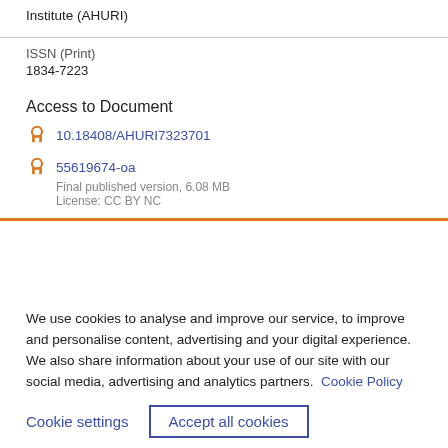Institute (AHURI)
ISSN (Print)
1834-7223
Access to Document
10.18408/AHURI7323701
55619674-oa
Final published version, 6.08 MB
License: CC BY NC
We use cookies to analyse and improve our service, to improve and personalise content, advertising and your digital experience. We also share information about your use of our site with our social media, advertising and analytics partners.  Cookie Policy
Cookie settings
Accept all cookies